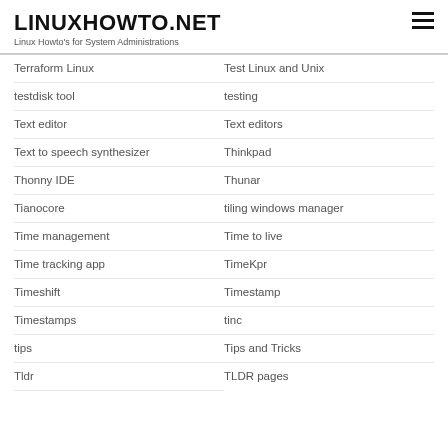LINUXHOWTO.NET
Linux Howto's for System Administrations
Terraform Linux
Test Linux and Unix
testdisk tool
testing
Text editor
Text editors
Text to speech synthesizer
Thinkpad
Thonny IDE
Thunar
Tianocore
tiling windows manager
Time management
Time to live
Time tracking app
TimeKpr
Timeshift
Timestamp
Timestamps
tinc
tips
Tips and Tricks
Tldr
TLDR pages